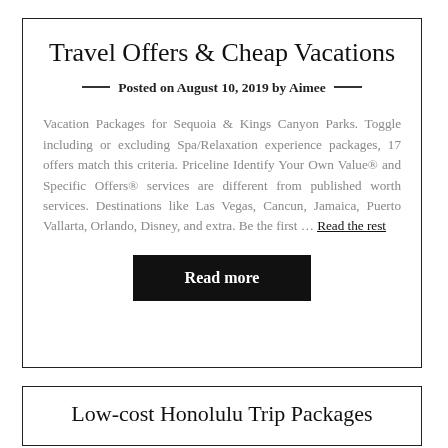Travel Offers & Cheap Vacations
Posted on August 10, 2019 by Aimee
Vacation Packages for Sequoia & Kings Canyon Parks. Toggle including or excluding Spa/Relaxation experience packages, 17 offers match this criteria. Priceline Identify Your Own Value® and Specific Offers® services are different from published worth services. Destinations like Las Vegas, Cancun, Jamaica, Puerto Vallarta, Orlando, Disney, and extra. Be the first … Read the rest
Read more
Low-cost Honolulu Trip Packages